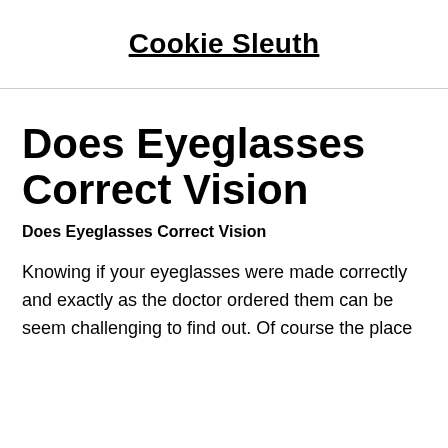Cookie Sleuth
Does Eyeglasses Correct Vision
Does Eyeglasses Correct Vision
Knowing if your eyeglasses were made correctly and exactly as the doctor ordered them can be seem challenging to find out. Of course the place